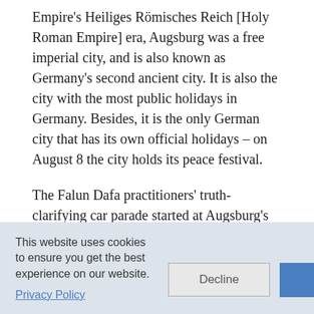Empire's Heiliges Römisches Reich [Holy Roman Empire] era, Augsburg was a free imperial city, and is also known as Germany's second ancient city. It is also the city with the most public holidays in Germany. Besides, it is the only German city that has its own official holidays – on August 8 the city holds its peace festival.
The Falun Dafa practitioners' truth-clarifying car parade started at Augsburg's Messe. It passed by many famous areas, including the Theodor-Heuss Platz, Rote- Torwall-Strasse, and the Kennedy Platz where the State Theater is located. The parade also proceeded through the suburban streets. With a
This website uses cookies to ensure you get the best experience on our website.
Privacy Policy